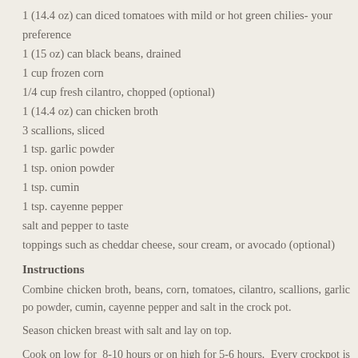1 (14.4 oz) can diced tomatoes with mild or hot green chilies- your preference
1 (15 oz) can black beans, drained
1 cup frozen corn
1/4 cup fresh cilantro, chopped (optional)
1 (14.4 oz) can chicken broth
3 scallions, sliced
1 tsp. garlic powder
1 tsp. onion powder
1 tsp. cumin
1 tsp. cayenne pepper
salt and pepper to taste
toppings such as cheddar cheese, sour cream, or avocado (optional)
Instructions
Combine chicken broth, beans, corn, tomatoes, cilantro, scallions, garlic powder, cumin, cayenne pepper and salt in the crock pot.
Season chicken breast with salt and lay on top.
Cook on low for 8-10 hours or on high for 5-6 hours. Every crockpot is different, sure your chicken is tender and shreds.
About 20 minutes before serving, remove chicken and shred. Return chic